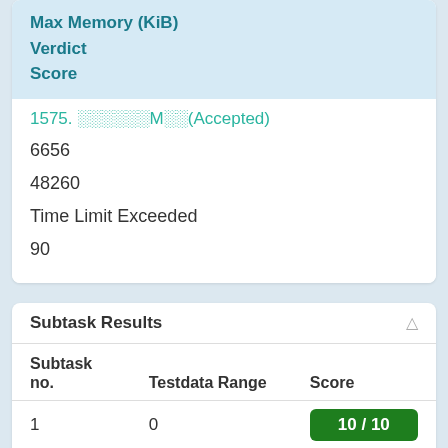| Max Memory (KiB) | Verdict | Score |
| --- | --- | --- |
| 1575. ░░░░░░M░░(Accepted) |  |  |
| 6656 |  |  |
| 48260 |  |  |
| Time Limit Exceeded |  |  |
| 90 |  |  |
| Subtask no. | Testdata Range | Score |
| --- | --- | --- |
| 1 | 0 | 10 / 10 |
| 2 | 1 | 10 / 10 |